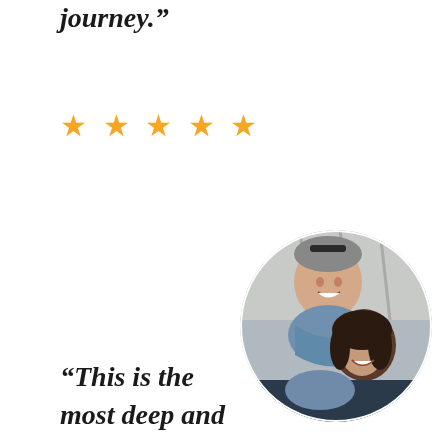journey.”
★ ★ ★ ★ ★
[Figure (photo): Circular cropped photo of a smiling couple: a man with grey hair wearing sunglasses on his head and a blue scarf, and a woman with dark hair, both smiling closely together outdoors]
“This is the most deep and